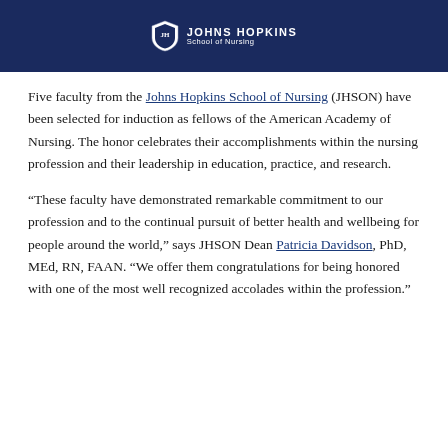[Figure (logo): Johns Hopkins School of Nursing logo on dark navy blue banner background]
Five faculty from the Johns Hopkins School of Nursing (JHSON) have been selected for induction as fellows of the American Academy of Nursing. The honor celebrates their accomplishments within the nursing profession and their leadership in education, practice, and research.
“These faculty have demonstrated remarkable commitment to our profession and to the continual pursuit of better health and wellbeing for people around the world,” says JHSON Dean Patricia Davidson, PhD, MEd, RN, FAAN. “We offer them congratulations for being honored with one of the most well recognized accolades within the profession.”